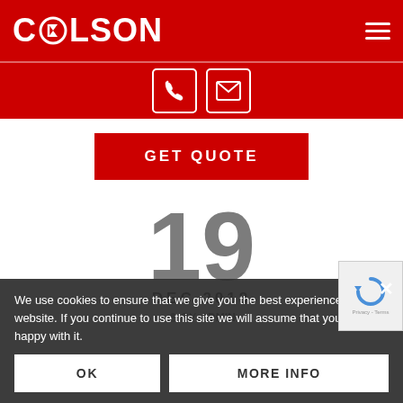[Figure (logo): COLSON logo in white text on red background with recycling/gear icon between C and LSON]
[Figure (infographic): Red band with phone icon and email envelope icon as white outlined boxes]
GET QUOTE
We use cookies to ensure that we give you the best experience on our website. If you continue to use this site we will assume that you are happy with it.
19
DEC 2018
BY ADMIN
OK
MORE INFO
POSTED IN COLSON TRANSPORT NEWS, PALC...